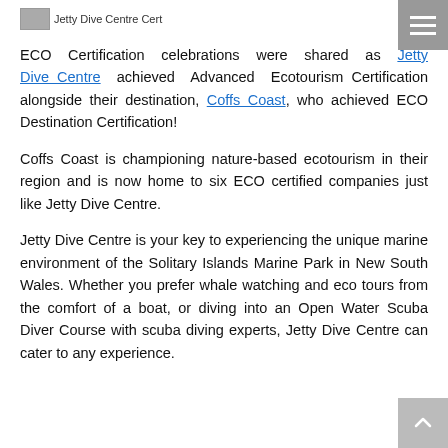[Figure (logo): Jetty Dive Centre Cert logo image placeholder with text label]
ECO Certification celebrations were shared as Jetty Dive Centre achieved Advanced Ecotourism Certification alongside their destination, Coffs Coast, who achieved ECO Destination Certification!
Coffs Coast is championing nature-based ecotourism in their region and is now home to six ECO certified companies just like Jetty Dive Centre.
Jetty Dive Centre is your key to experiencing the unique marine environment of the Solitary Islands Marine Park in New South Wales. Whether you prefer whale watching and eco tours from the comfort of a boat, or diving into an Open Water Scuba Diver Course with scuba diving experts, Jetty Dive Centre can cater to any experience.